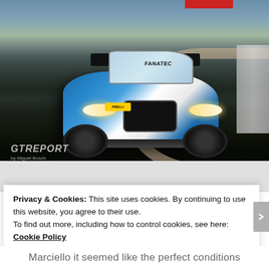[Figure (photo): A blue and white Mercedes-AMG GT3 race car with FANATEC branding navigating a circuit corner, photographed by Miguel Bosch for GT Report.]
Privacy & Cookies: This site uses cookies. By continuing to use this website, you agree to their use.
To find out more, including how to control cookies, see here:
Cookie Policy
Close and accept
Marciello it seemed like the perfect conditions